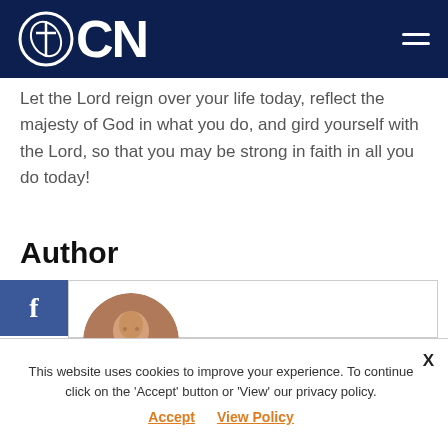OCN
Let the Lord reign over your life today, reflect the majesty of God in what you do, and gird yourself with the Lord, so that you may be strong in faith in all you do today!
Author
[Figure (photo): Circular portrait photo of Fr. Stavros Akrotirianakis standing at a podium in liturgical vestments]
Fr. Stavros Akrotirianakis
This website uses cookies to improve your experience. To continue click on the 'Accept' button or 'View' our privacy policy. Accept  View Policy